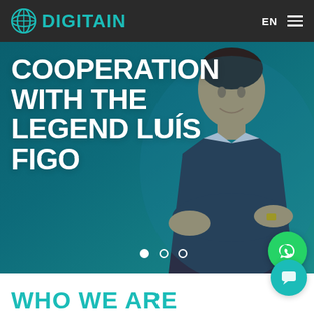DIGITAIN — EN (navigation bar with language selector and hamburger menu)
[Figure (screenshot): Hero banner with dark teal gradient background and photo of Luis Figo (man in dark suit with arms crossed, smiling). Large white bold text overlay reads 'COOPERATION WITH THE LEGEND LUÍS FIGO'. Three carousel navigation dots at the bottom of the banner (one filled white, two outlined). WhatsApp chat button (green circle) in bottom-right corner.]
COOPERATION WITH THE LEGEND LUÍS FIGO
WHO WE ARE